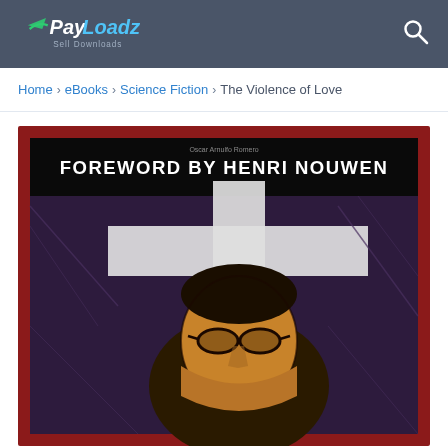PayLoadz Sell Downloads
Home > eBooks > Science Fiction > The Violence of Love
[Figure (photo): Book cover image showing 'FOREWORD BY HENRI NOUWEN' text on a black background with a stylized illustration of a person's face wearing glasses in front of a white cross on a dark purple/maroon background. Red border around the cover.]